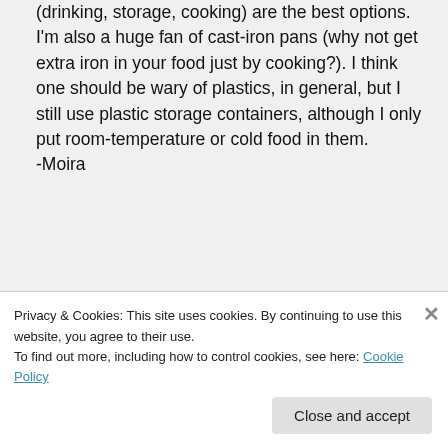(drinking, storage, cooking) are the best options. I'm also a huge fan of cast-iron pans (why not get extra iron in your food just by cooking?). I think one should be wary of plastics, in general, but I still use plastic storage containers, although I only put room-temperature or cold food in them. -Moira
★ Like
↪ Reply
Privacy & Cookies: This site uses cookies. By continuing to use this website, you agree to their use. To find out more, including how to control cookies, see here: Cookie Policy
Close and accept